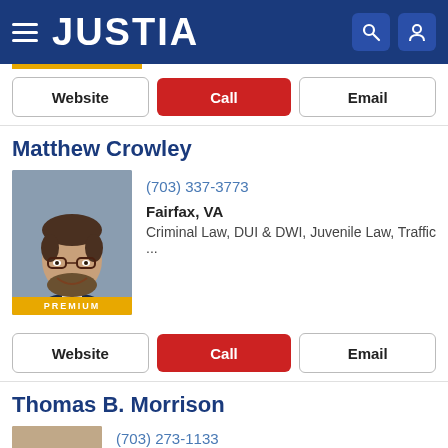JUSTIA
Website | Call | Email
Matthew Crowley
(703) 337-3773
Fairfax, VA
Criminal Law, DUI & DWI, Juvenile Law, Traffic ...
Website | Call | Email
Thomas B. Morrison
(703) 273-1133
Fairfax, VA
Personal Injury